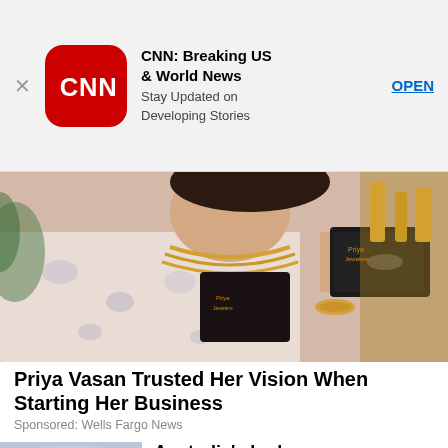[Figure (screenshot): CNN app advertisement banner with CNN logo (white letters on red rounded square), title 'CNN: Breaking US & World News', subtitle 'Stay Updated on Developing Stories', and an OPEN button]
[Figure (photo): Woman wearing off-shoulder floral dress and gold necklaces holding jewelry boxes from Priya Jewelers, with gold jewelry displayed in background]
Priya Vasan Trusted Her Vision When Starting Her Business
Sponsored: Wells Fargo News
[Figure (photo): Hydrogen Perfection facility building exterior with glass and metal structure, sign visible]
Australia's hydrogen economy gets rolling
Sponsored: Siemens Energy